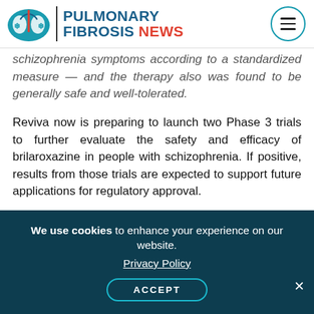[Figure (logo): Pulmonary Fibrosis News logo with lung icon and site name]
schizophrenia symptoms according to a standardized measure — and the therapy also was found to be generally safe and well-tolerated.
Reviva now is preparing to launch two Phase 3 trials to further evaluate the safety and efficacy of brilaroxazine in people with schizophrenia. If positive, results from those trials are expected to support future applications for regulatory approval.
“We look forward to initiating two Phase 3 trials evaluating both the efficacy and safety, as well as long-term safety of brilaroxazine in adults with
We use cookies to enhance your experience on our website. Privacy Policy ACCEPT